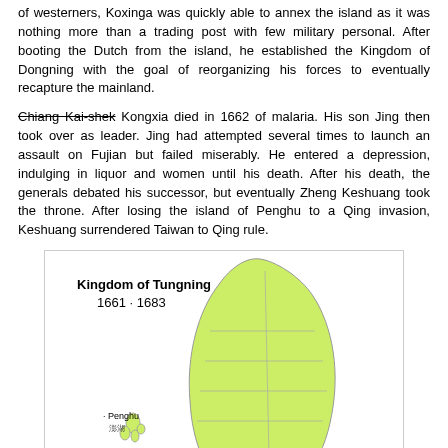of westerners, Koxinga was quickly able to annex the island as it was nothing more than a trading post with few military personal. After booting the Dutch from the island, he established the Kingdom of Dongning with the goal of reorganizing his forces to eventually recapture the mainland.
Chiang Kai-shek [strikethrough] Kongxia died in 1662 of malaria. His son Jing then took over as leader. Jing had attempted several times to launch an assault on Fujian but failed miserably. He entered a depression, indulging in liquor and women until his death. After his death, the generals debated his successor, but eventually Zheng Keshuang took the throne. After losing the island of Penghu to a Qing invasion, Keshuang surrendered Taiwan to Qing rule.
[Figure (map): Map of the Kingdom of Tungning, 1661-1683, showing Taiwan island in yellow-green with internal administrative boundaries, Penghu islands to the west, and labeled locations including Ch'engt'ien Fu and Tientang near the south.]